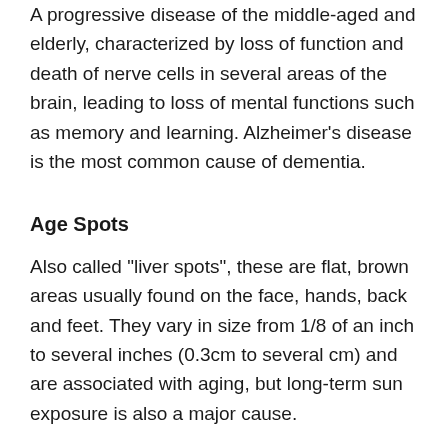A progressive disease of the middle-aged and elderly, characterized by loss of function and death of nerve cells in several areas of the brain, leading to loss of mental functions such as memory and learning. Alzheimer's disease is the most common cause of dementia.
Age Spots
Also called "liver spots", these are flat, brown areas usually found on the face, hands, back and feet. They vary in size from 1/8 of an inch to several inches (0.3cm to several cm) and are associated with aging, but long-term sun exposure is also a major cause.
Bipolar Disorder